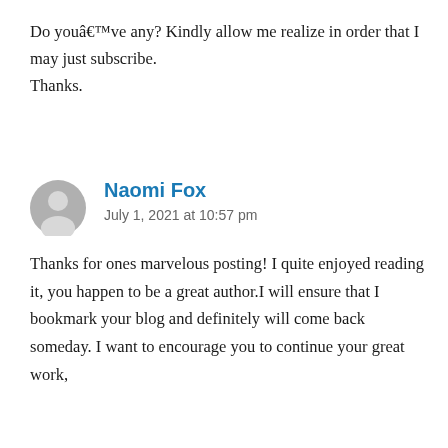Do youâ€™ve any? Kindly allow me realize in order that I may just subscribe. Thanks.
Naomi Fox
July 1, 2021 at 10:57 pm
Thanks for ones marvelous posting! I quite enjoyed reading it, you happen to be a great author.I will ensure that I bookmark your blog and definitely will come back someday. I want to encourage you to continue your great work,